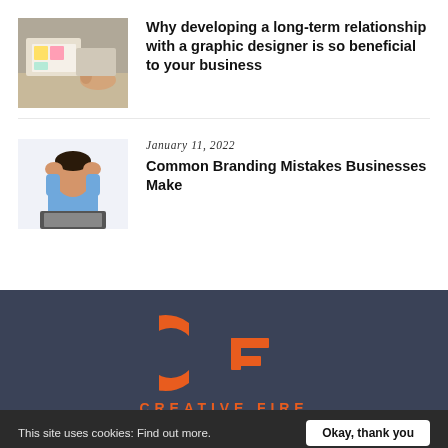[Figure (photo): Photo of hands working on a desk with sticky notes and papers, suggesting a design/planning session]
Why developing a long-term relationship with a graphic designer is so beneficial to your business
[Figure (photo): Photo of a stressed man in a blue shirt holding his head with both hands, sitting in front of a laptop]
January 11, 2022
Common Branding Mistakes Businesses Make
[Figure (logo): Creative Fire logo — orange CF lettermark on dark background with CREATIVE FIRE text below]
This site uses cookies: Find out more.   Okay, thank you